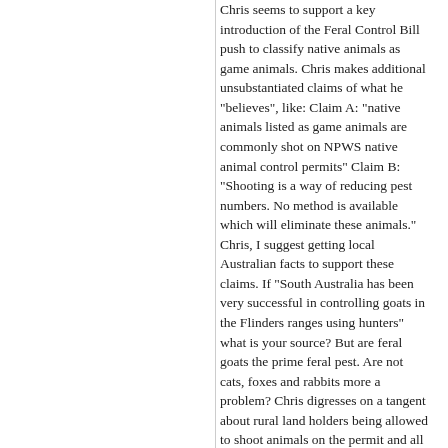Chris seems to support a key introduction of the Feral Control Bill push to classify native animals as game animals. Chris makes additional unsubstantiated claims of what he "believes", like: Claim A: "native animals listed as game animals are commonly shot on NPWS native animal control permits" Claim B: "Shooting is a way of reducing pest numbers. No method is available which will eliminate these animals." Chris, I suggest getting local Australian facts to support these claims. If "South Australia has been very successful in controlling goats in the Flinders ranges using hunters" what is your source? But are feral goats the prime feral pest. Are not cats, foxes and rabbits more a problem? Chris digresses on a tangent about rural land holders being allowed to shoot animals on the permit and all animals shot are not allowed to be